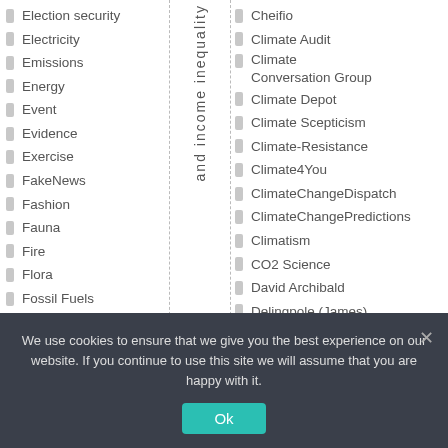Election security
Electricity
Emissions
Energy
Event
Evidence
Exercise
FakeNews
Fashion
Fauna
Fire
Flora
Fossil Fuels
Free markets
Free Speech
and income inequality
Cheifio
Climate Audit
Climate Conversation Group
Climate Depot
Climate Scepticism
Climate-Resistance
Climate4You
ClimateChangeDispatch
ClimateChangePredictions
Climatism
CO2 Science
David Archibald
Delingpole (James)
Don Aitkin
We use cookies to ensure that we give you the best experience on our website. If you continue to use this site we will assume that you are happy with it.
Ok